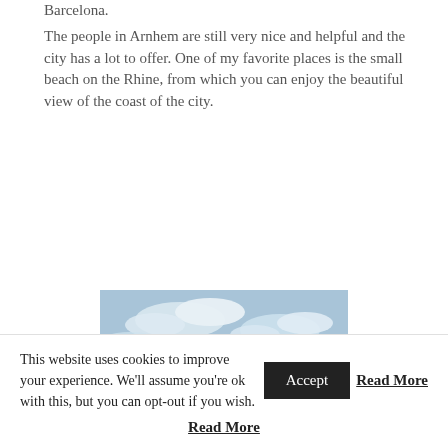Barcelona.
The people in Arnhem are still very nice and helpful and the city has a lot to offer. One of my favorite places is the small beach on the Rhine, from which you can enjoy the beautiful view of the coast of the city.
[Figure (photo): Group of people standing in front of a bridge over a river, with trees and cloudy sky in background. Bridge appears to be a large arch bridge.]
This website uses cookies to improve your experience. We'll assume you're ok with this, but you can opt-out if you wish. Accept Read More